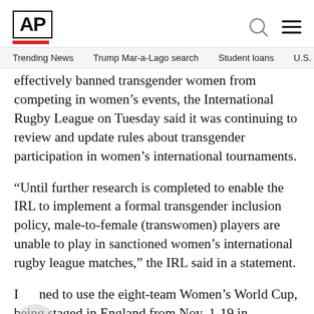AP
Trending News   Trump Mar-a-Lago search   Student loans   U.S.
effectively banned transgender women from competing in women’s events, the International Rugby League on Tuesday said it was continuing to review and update rules about transgender participation in women’s international tournaments.
“Until further research is completed to enable the IRL to implement a formal transgender inclusion policy, male-to-female (transwomen) players are unable to play in sanctioned women’s international rugby league matches,” the IRL said in a statement.
It ned to use the eight-team Women’s World Cup, being staged in England from Nov. 1-19 in conjunction